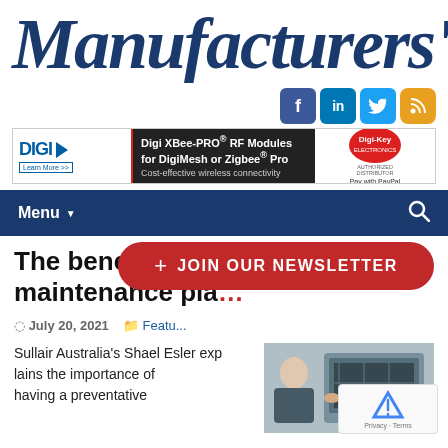[Figure (logo): Manufacturers' Monthly magazine logo in dark blue serif italic font with MONTHLY in sans-serif caps]
[Figure (infographic): Social media icons: Facebook (blue), LinkedIn (blue), Twitter (light blue), RSS (orange)]
[Figure (infographic): Advertisement banner: Digi XBee-PRO RF Modules for DigiMesh or Zigbee Pro, Cost-effective wireless connectivity, Digi-Key authorized distributor, Pay with PayPal]
Menu
The benefits of a preventative maintenance plan
July 20, 2021   Featu...
Sullair Australia's Shael Esler explains the importance of having a preventative
[Figure (photo): Person working with electronic/industrial equipment]
[Figure (infographic): JOIN OUR NEWSLETTER button in red rounded rectangle]
[Figure (infographic): reCAPTCHA widget - Privacy · Terms]